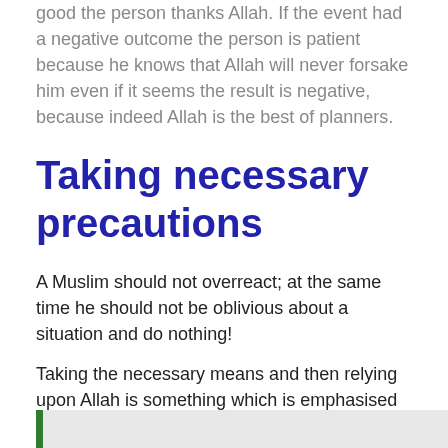good the person thanks Allah. If the event had a negative outcome the person is patient because he knows that Allah will never forsake him even if it seems the result is negative, because indeed Allah is the best of planners.
Taking necessary precautions
A Muslim should not overreact; at the same time he should not be oblivious about a situation and do nothing!
Taking the necessary means and then relying upon Allah is something which is emphasised in Islam.